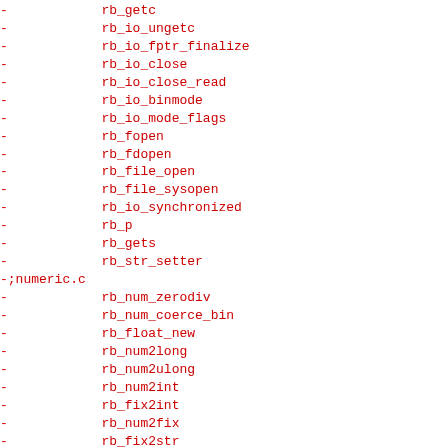-            rb_getc
-            rb_io_ungetc
-            rb_io_fptr_finalize
-            rb_io_close
-            rb_io_close_read
-            rb_io_binmode
-            rb_io_mode_flags
-            rb_fopen
-            rb_fdopen
-            rb_file_open
-            rb_file_sysopen
-            rb_io_synchronized
-            rb_p
-            rb_gets
-            rb_str_setter
-;numeric.c
-            rb_num_zerodiv
-            rb_num_coerce_bin
-            rb_float_new
-            rb_num2long
-            rb_num2ulong
-            rb_num2int
-            rb_fix2int
-            rb_num2fix
-            rb_fix2str
-            rb_fix_upto
-;object.c
-            rb_equal
-            rb_eql
-            rb_obj_id